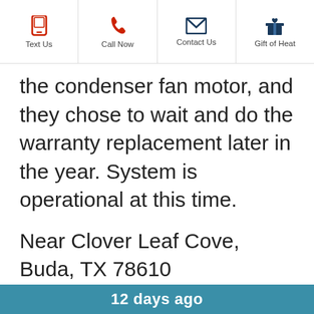Text Us | Call Now | Contact Us | Gift of Heat
the condenser fan motor, and they chose to wait and do the warranty replacement later in the year. System is operational at this time.
Near Clover Leaf Cove, Buda, TX 78610
12 days ago